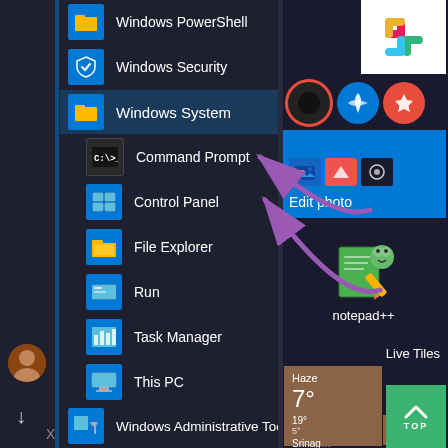[Figure (screenshot): Windows 10 Start Menu showing Windows System folder expanded with Command Prompt, Control Panel, File Explorer, Run, Task Manager, This PC, Windows Administrative Tools items. Right side shows pinned tiles including Slack, Edit photo, notepad++, weather tile showing Haze 7° 19° 5°, and a green TOP button. Purple arrows point to Command Prompt and Control Panel items.]